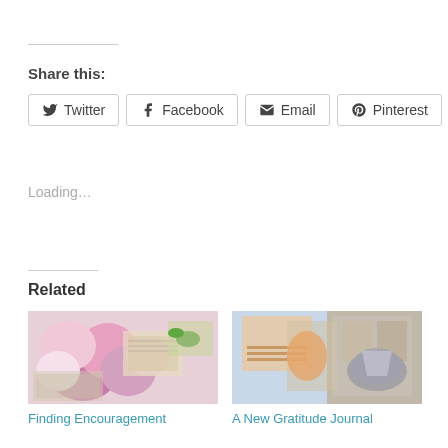Share this:
Twitter
Facebook
Email
Pinterest
Loading...
Related
[Figure (photo): Collage of flowers and vintage papers - Finding Encouragement thumbnail]
Finding Encouragement
[Figure (photo): Child with gratitude journal craft items - A New Gratitude Journal thumbnail]
A New Gratitude Journal